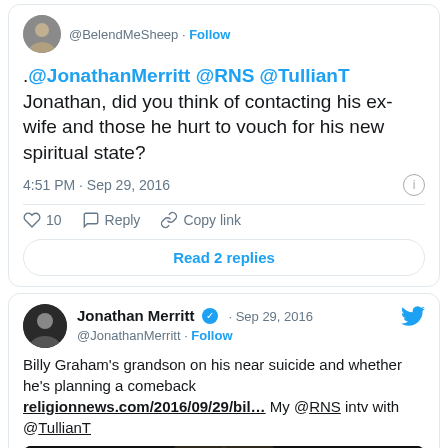[Figure (screenshot): First tweet card: Reply tweet mentioning @JonathanMerritt @RNS @TullianT asking if he contacted ex-wife and those he hurt to vouch for his new spiritual state. Timestamp 4:51 PM Sep 29, 2016. 10 likes. Read 2 replies button.]
[Figure (screenshot): Second tweet card: Jonathan Merritt @JonathanMerritt verified Sep 29 2016 tweet about Billy Graham's grandson on his near suicide and whether he's planning a comeback, linking to religionnews.com/2016/09/29/bil..., his @RNS intv with @TullianT. Includes partial image preview.]